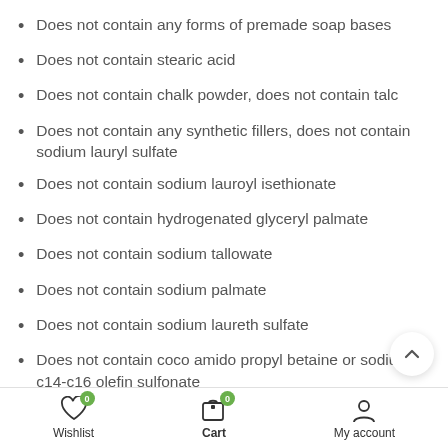Does not contain any forms of premade soap bases
Does not contain stearic acid
Does not contain chalk powder, does not contain talc
Does not contain any synthetic fillers, does not contain sodium lauryl sulfate
Does not contain sodium lauroyl isethionate
Does not contain hydrogenated glyceryl palmate
Does not contain sodium tallowate
Does not contain sodium palmate
Does not contain sodium laureth sulfate
Does not contain coco amido propyl betaine or sodium c14-c16 olefin sulfonate
Does not contain sodium palm kernelate
Wishlist  Cart  My account